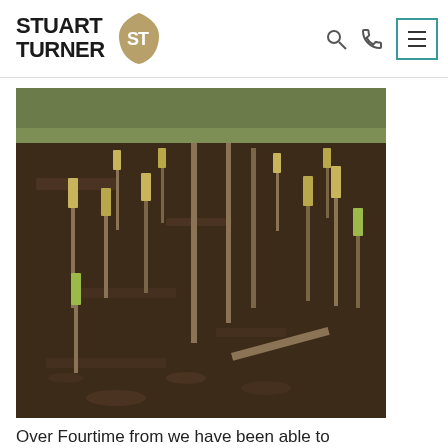Stuart Turner — website header with logo, search icon, phone icon, and menu button
[Figure (photo): Outdoor field photo showing freshly planted tree saplings with wooden stakes in dark brown soil, green field visible in the background.]
Over Fourtime from we have been able to